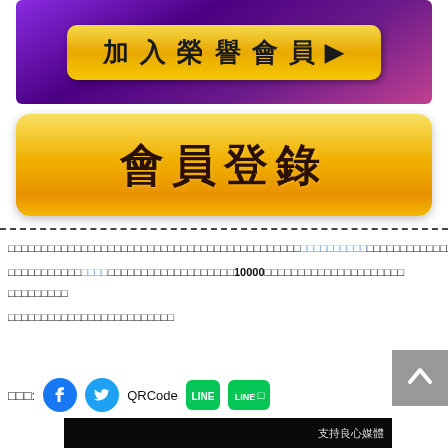[Figure (other): Purple/dark gradient banner with yellow rounded button '加入榮譽會員 ▶']
[Figure (other): Large golden/yellow rounded button with text '會員登錄']
文字段落（中文）含連結與數字10000，三行文字說明
分享：Facebook Twitter QRCode LINE LINE@
[Figure (photo): Dark image at bottom with partial Chinese text visible]